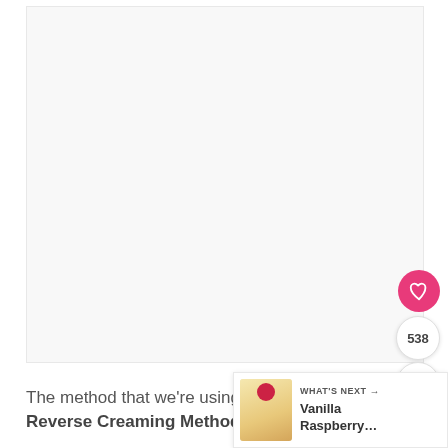[Figure (photo): Large light-colored image area (appears mostly white/blank in this view), showing a baking or food-related photo.]
The method that we're using today is ca… Reverse Creaming Method.
[Figure (photo): WHAT'S NEXT → thumbnail showing a Vanilla Raspberry cake slice with a berry on top.]